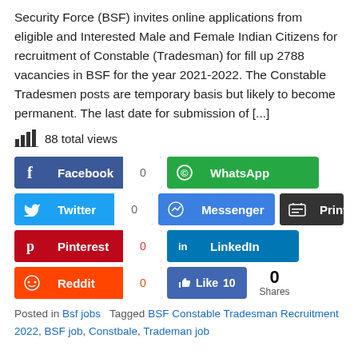Security Force (BSF) invites online applications from eligible and Interested Male and Female Indian Citizens for recruitment of Constable (Tradesman) for fill up 2788 vacancies in BSF for the year 2021-2022. The Constable Tradesmen posts are temporary basis but likely to become permanent. The last date for submission of [...]
88 total views
[Figure (infographic): Social sharing buttons: Facebook (0), WhatsApp, Twitter (0), Messenger, Print, Pinterest (0), LinkedIn, Reddit (0), Like (10), 0 Shares]
Posted in Bsf jobs  Tagged BSF Constable Tradesman Recruitment 2022, BSF job, Constbale, Trademan job